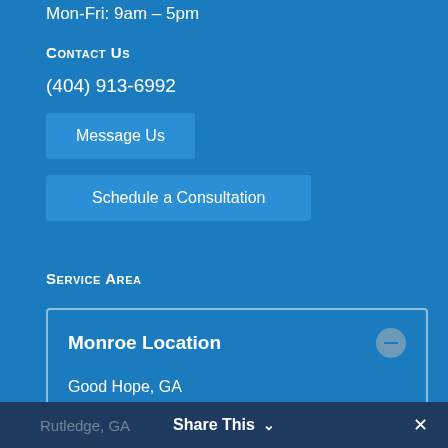Mon-Fri: 9am – 5pm
Contact Us
(404) 913-6992
Message Us
Schedule a Consultation
Service Area
Monroe Location
Good Hope, GA
Social Circle, GA
Rutledge, GA
Share This ✓ ✕